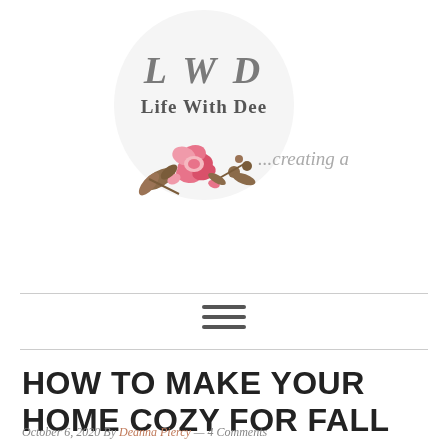[Figure (logo): Life With Dee blog logo: circle background with 'L W D' monogram in gray serif font, 'Life With Dee' text below, pink floral illustration at bottom, and '...creating a' text to the right]
HOW TO MAKE YOUR HOME COZY FOR FALL
October 6, 2020 By Deanna Piercy — 4 Comments